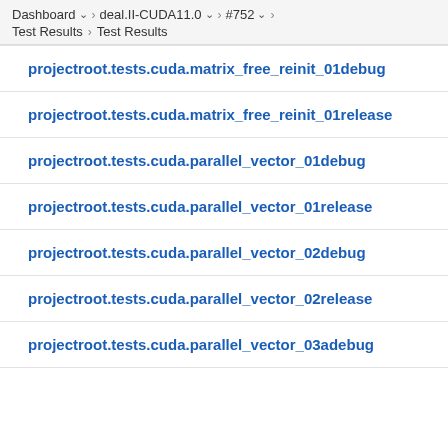Dashboard > deal.II-CUDA11.0 > #752 > Test Results > Test Results
projectroot.tests.cuda.matrix_free_reinit_01debug
projectroot.tests.cuda.matrix_free_reinit_01release
projectroot.tests.cuda.parallel_vector_01debug
projectroot.tests.cuda.parallel_vector_01release
projectroot.tests.cuda.parallel_vector_02debug
projectroot.tests.cuda.parallel_vector_02release
projectroot.tests.cuda.parallel_vector_03adebug